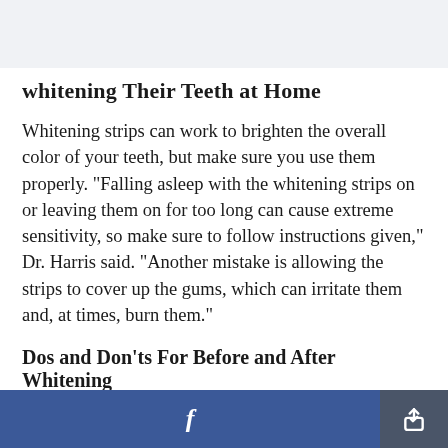whitening Their Teeth at Home
Whitening strips can work to brighten the overall color of your teeth, but make sure you use them properly. "Falling asleep with the whitening strips on or leaving them on for too long can cause extreme sensitivity, so make sure to follow instructions given," Dr. Harris said. "Another mistake is allowing the strips to cover up the gums, which can irritate them and, at times, burn them."
Dos and Don'ts For Before and After Whitening
f [share]